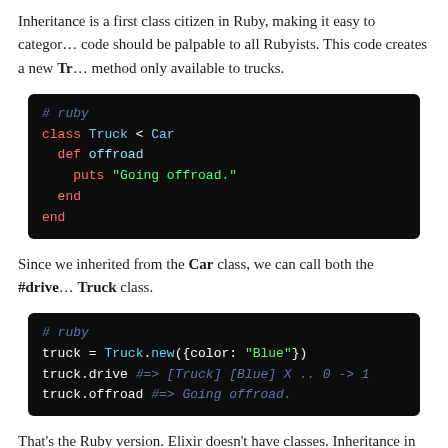Inheritance is a first class citizen in Ruby, making it easy to categorize… code should be palpable to all Rubyists. This code creates a new Tr… method only available to trucks.
[Figure (screenshot): Ruby code block showing class Truck inheriting from Car with def offroad method]
Since we inherited from the Car class, we can call both the #drive … Truck class.
[Figure (screenshot): Ruby code block showing truck = Truck.new({color: "Blue"}) with truck.drive and truck.offroad calls]
That's the Ruby version. Elixir doesn't have classes. Inheritance in … more setup and ceremony to accomplish.
First, how do we represent types and subtypes without classes? The… defining the Car module in Elixir, one of the default values was a f…